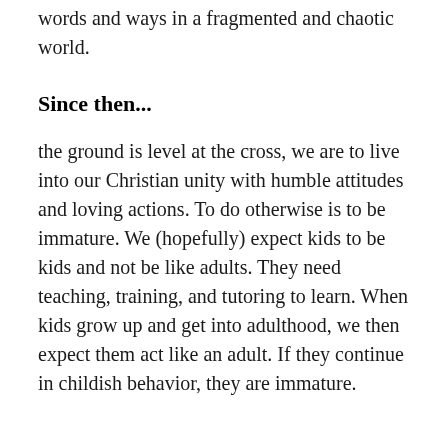words and ways in a fragmented and chaotic world.
Since then...
the ground is level at the cross, we are to live into our Christian unity with humble attitudes and loving actions. To do otherwise is to be immature. We (hopefully) expect kids to be kids and not be like adults. They need teaching, training, and tutoring to learn. When kids grow up and get into adulthood, we then expect them act like an adult. If they continue in childish behavior, they are immature.